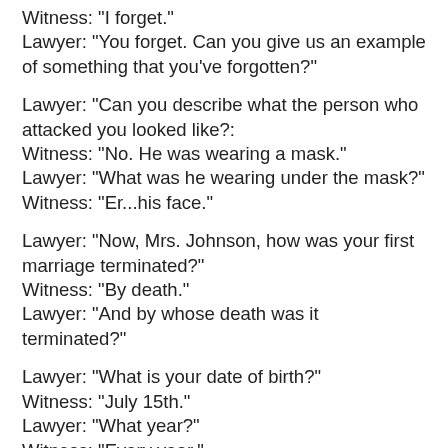Witness: "I forget."
Lawyer: "You forget. Can you give us an example of something that you've forgotten?"
Lawyer: "Can you describe what the person who attacked you looked like?:
Witness: "No. He was wearing a mask."
Lawyer: "What was he wearing under the mask?"
Witness: "Er...his face."
Lawyer: "Now, Mrs. Johnson, how was your first marriage terminated?"
Witness: "By death."
Lawyer: "And by whose death was it terminated?"
Lawyer: "What is your date of birth?"
Witness: "July 15th."
Lawyer: "What year?"
Witness: "Every year."
Lawyer: "Can you tell us what was stolen from your house?"
Witness: "There was a rifle that belonged to my father that